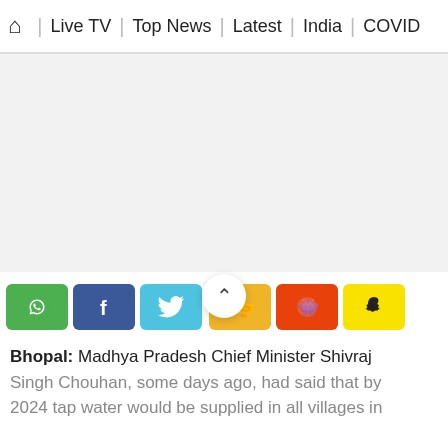🏠 | Live TV | Top News | Latest | India | COVID
[Figure (other): Advertisement/blank area]
[Figure (other): Social sharing buttons: WhatsApp, Facebook, Twitter, Koo, Reddit, Snapchat; with scroll-to-top button in center]
Bhopal: Madhya Pradesh Chief Minister Shivraj Singh Chouhan, some days ago, had said that by 2024 tap water would be supplied in all villages in